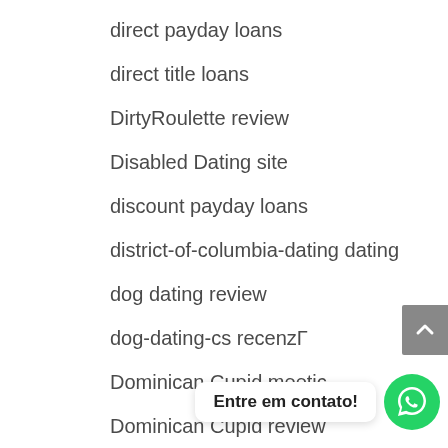direct payday loans
direct title loans
DirtyRoulette review
Disabled Dating site
discount payday loans
district-of-columbia-dating dating
dog dating review
dog-dating-cs recenzГ
Dominican Cupid meetic
Dominican Cupid review
Dominican Cupid visitors
dominicancupid chat
dominicancupid dating site
Entre em contato!